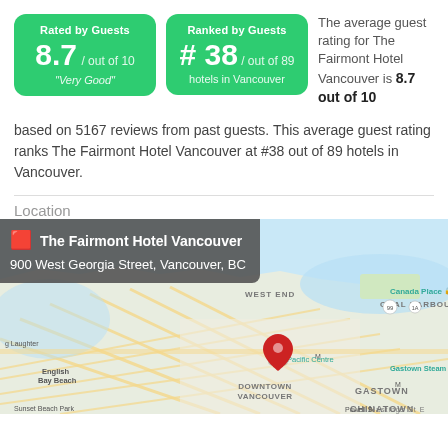[Figure (infographic): Green badge: Rated by Guests 8.7 / out of 10 'Very Good']
[Figure (infographic): Green badge: Ranked by Guests #38 / out of 89 hotels in Vancouver]
The average guest rating for The Fairmont Hotel Vancouver is 8.7 out of 10 based on 5167 reviews from past guests. This average guest rating ranks The Fairmont Hotel Vancouver at #38 out of 89 hotels in Vancouver.
Location
[Figure (map): Google Map showing The Fairmont Hotel Vancouver at 900 West Georgia Street, Vancouver, BC. Downtown Vancouver area visible with labels: West End, Coal Harbour, Canada Place, English Bay Beach, CF Pacific Centre, Gastown, Gastown Steam Clock, Chinatown, Sunset Beach Park.]